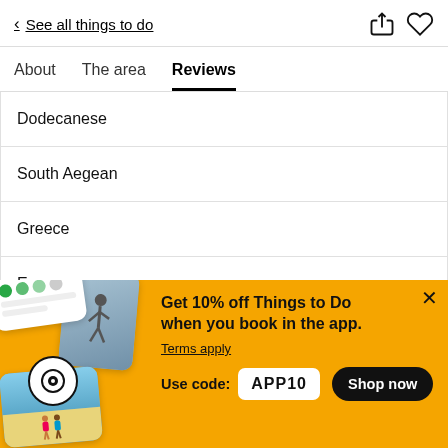< See all things to do
About   The area   Reviews
Dodecanese
South Aegean
Greece
Europe
[Figure (screenshot): Yellow promotional banner with app images showing 'Get 10% off Things to Do when you book in the app. Terms apply. Use code: APP10. Shop now button.']